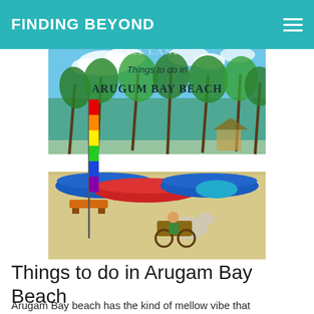FINDING BEYOND
[Figure (photo): Beach scene at Arugam Bay Beach, Sri Lanka, showing colorful fishing boats, palm trees, a rainbow flag/kite pole, and a person riding a horse-drawn cart on the sandy beach. Text overlay reads 'Things to do in ARUGUM BAY BEACH' and 'SRI LANKA'.]
Things to do in Arugam Bay Beach
Arugam Bay beach has the kind of mellow vibe that